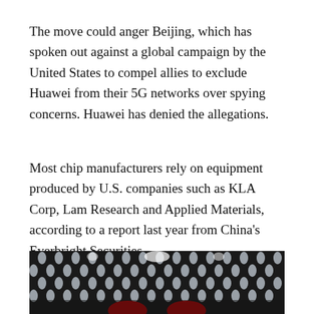The move could anger Beijing, which has spoken out against a global campaign by the United States to compel allies to exclude Huawei from their 5G networks over spying concerns. Huawei has denied the allegations.
Most chip manufacturers rely on equipment produced by U.S. companies such as KLA Corp, Lam Research and Applied Materials, according to a report last year from China's Everbright Securities.
[Figure (photo): Dark close-up photograph of a perforated metallic surface with oval holes through which light shines, with red elements visible at the bottom, likely a Huawei-related photo.]